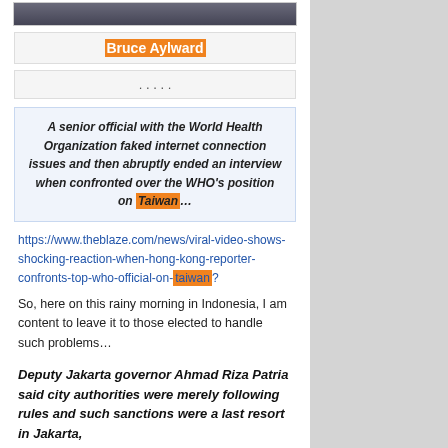[Figure (photo): Photo of a person, cropped at top of page]
Bruce Aylward
. . . . .
A senior official with the World Health Organization faked internet connection issues and then abruptly ended an interview when confronted over the WHO's position on Taiwan…
https://www.theblaze.com/news/viral-video-shows-shocking-reaction-when-hong-kong-reporter-confronts-top-who-official-on-taiwan?
So, here on this rainy morning in Indonesia, I am content to leave it to those elected to handle such problems…
Deputy Jakarta governor Ahmad Riza Patria said city authorities were merely following rules and such sanctions were a last resort in Jakarta,